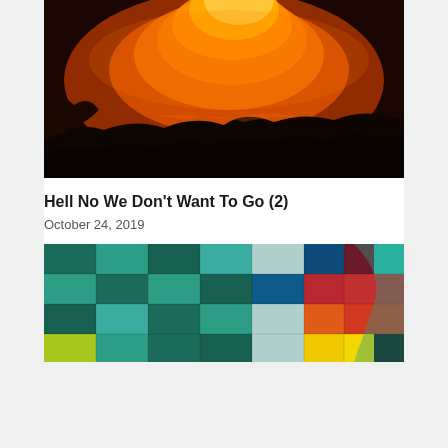[Figure (photo): Volcanic crater glowing bright orange at night, with dark silhouetted rocky rim in foreground]
Hell No We Don't Want To Go (2)
October 24, 2019
[Figure (photo): Colorful textile or woven fabric with a checkerboard pattern of teal, green, blue, and light blue squares, with a curved stripe of red, orange, and yellow on the right side]